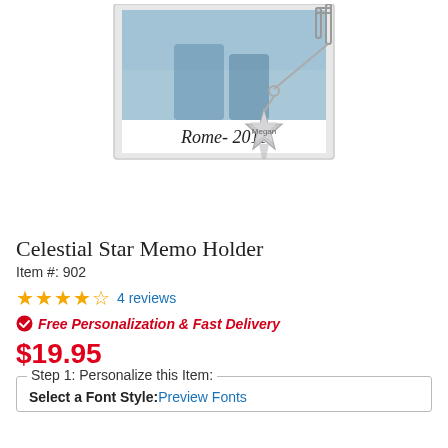[Figure (photo): Product photo of Celestial Star Memo Holder showing a silver polaroid-style photo holder with a star charm engraved with 'Megan', holding a photo labeled 'Rome- 2011']
Celestial Star Memo Holder
Item #: 902
★★★★½  4 reviews
✔ Free Personalization & Fast Delivery
$19.95
Step 1: Personalize this Item:
Select a Font Style: Preview Fonts